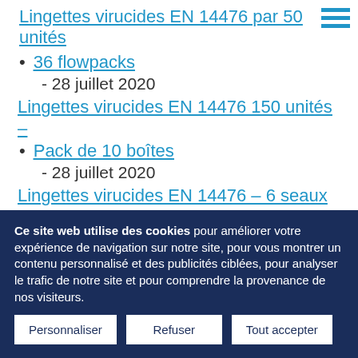Lingettes virucides EN 14476 par 50 unités
36 flowpacks
- 28 juillet 2020
Lingettes virucides EN 14476 150 unités – Pack de 10 boîtes
- 28 juillet 2020
Lingettes virucides EN 14476 – 6 seaux de 400
Ce site web utilise des cookies pour améliorer votre expérience de navigation sur notre site, pour vous montrer un contenu personnalisé et des publicités ciblées, pour analyser le trafic de notre site et pour comprendre la provenance de nos visiteurs.